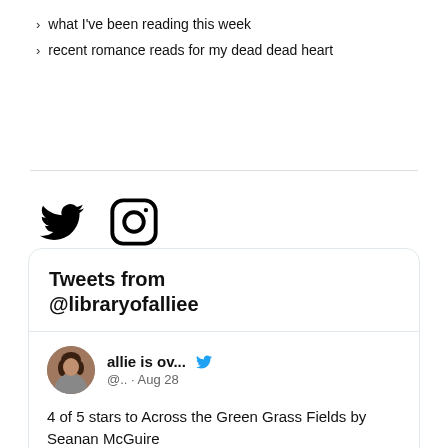> what I've been reading this week
> recent romance reads for my dead dead heart
[Figure (illustration): Twitter bird icon (black) and Instagram camera icon (black outline)]
[Figure (screenshot): Twitter widget showing 'Tweets from @libraryofalliee' header with a tweet by 'allie is ov...' @.. dated Aug 28 saying '4 of 5 stars to Across the Green Grass Fields by Seanan McGuire goodreads.com/review/show/45...']